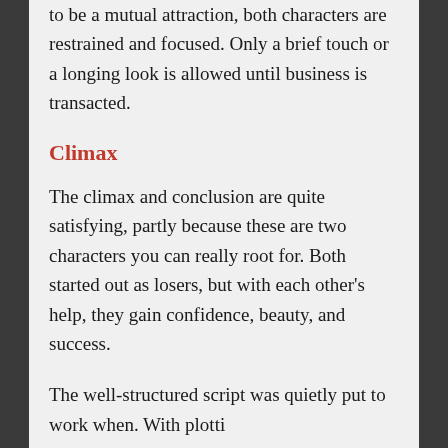to be a mutual attraction, both characters are restrained and focused. Only a brief touch or a longing look is allowed until business is transacted.
Climax
The climax and conclusion are quite satisfying, partly because these are two characters you can really root for. Both started out as losers, but with each other's help, they gain confidence, beauty, and success.
The well-structured script was quietly put to work when. With plotti